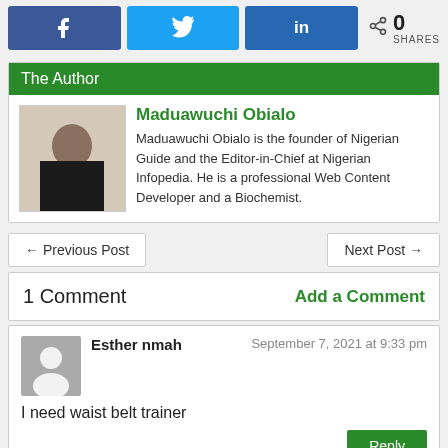[Figure (infographic): Social share buttons: Facebook (f icon), Twitter (bird icon), LinkedIn (in icon), and a share icon with 0 SHARES count]
The Author
[Figure (photo): Portrait photo of Maduawuchi Obialo]
Maduawuchi Obialo
Maduawuchi Obialo is the founder of Nigerian Guide and the Editor-in-Chief at Nigerian Infopedia. He is a professional Web Content Developer and a Biochemist.
← Previous Post
Next Post →
1 Comment
Add a Comment
Esther nmah
September 7, 2021 at 9:33 pm
I need waist belt trainer